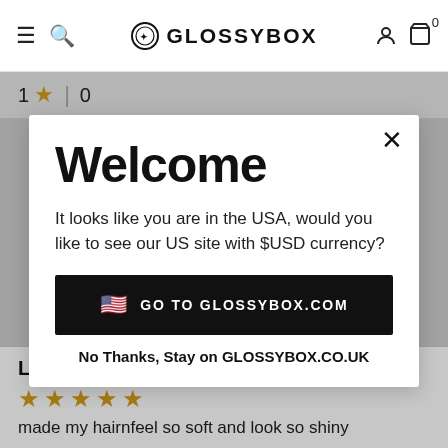GLOSSYBOX navigation bar with hamburger menu, search icon, GLOSSYBOX logo, account icon, and cart with 0 items
1 ★ | 0
Welcome
It looks like you are in the USA, would you like to see our US site with $USD currency?
🇺🇸 GO TO GLOSSYBOX.COM
No Thanks, Stay on GLOSSYBOX.CO.UK
Love it!!
★★★★★
made my hairnfeel so soft and look so shiny